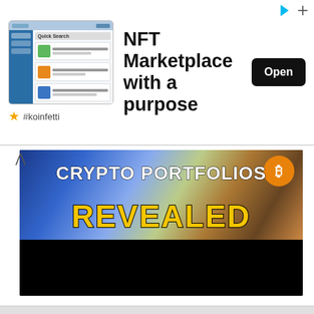[Figure (screenshot): Advertisement banner for koinfetti NFT Marketplace app with screenshot and Open button]
[Figure (photo): Video thumbnail showing 'CRYPTO PORTFOLIOS REVEALED' text overlay on image of people, with yellow and white bold text]
Crypto Biz is your weekly pulse on the business behind blockchain and crypto, delivered straight to your inbox every Thursday.